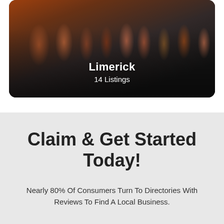[Figure (photo): A card with a crowd photo background (people walking on a street in warm/orange tones), overlaid with centered white text showing 'Limerick' and '14 Listings', with a dark gradient overlay and rounded corners.]
Claim & Get Started Today!
Nearly 80% Of Consumers Turn To Directories With Reviews To Find A Local Business.